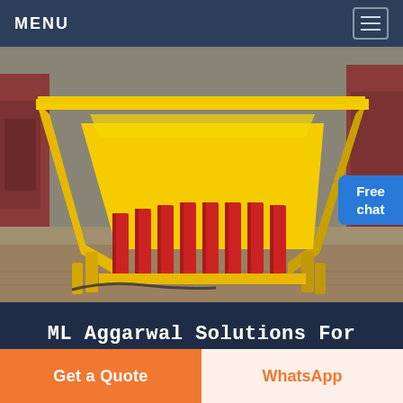MENU
[Figure (photo): Industrial yellow feeder/conveyor machine with red parallel bars/slats, set on a concrete factory floor with heavy red machinery in the background]
ML Aggarwal Solutions For Class 10 Maths Chapter 17
Get a Quote
WhatsApp